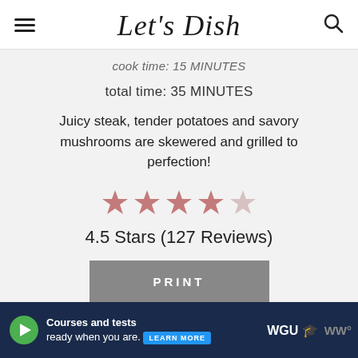Let's Dish
cook time: 15 MINUTES
total time: 35 MINUTES
Juicy steak, tender potatoes and savory mushrooms are skewered and grilled to perfection!
[Figure (other): 4.5 out of 5 stars rating display with pink/rose colored stars]
4.5 Stars (127 Reviews)
PRINT
[Figure (other): WGU advertisement banner: Courses and tests ready when you are. Learn More.]